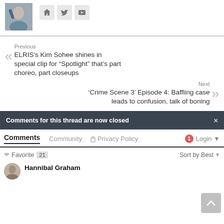[Figure (photo): Author profile photo of a woman making a frame gesture with her hands]
[Figure (infographic): Social media icons: home, Twitter, YouTube]
Previous
ELRIS's Kim Sohee shines in special clip for “Spotlight” that’s part choreo, part closeups
Next
‘Crime Scene 3’ Episode 4: Baffling case leads to confusion, talk of boning
Comments for this thread are now closed
Comments  Community  Privacy Policy  1  Login
Favorite 21  Sort by Best
Hannibal Graham